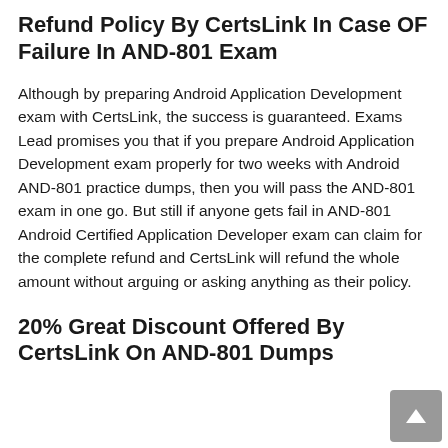Refund Policy By CertsLink In Case OF Failure In AND-801 Exam
Although by preparing Android Application Development exam with CertsLink, the success is guaranteed. Exams Lead promises you that if you prepare Android Application Development exam properly for two weeks with Android AND-801 practice dumps, then you will pass the AND-801 exam in one go. But still if anyone gets fail in AND-801 Android Certified Application Developer exam can claim for the complete refund and CertsLink will refund the whole amount without arguing or asking anything as their policy.
20% Great Discount Offered By CertsLink On AND-801 Dumps